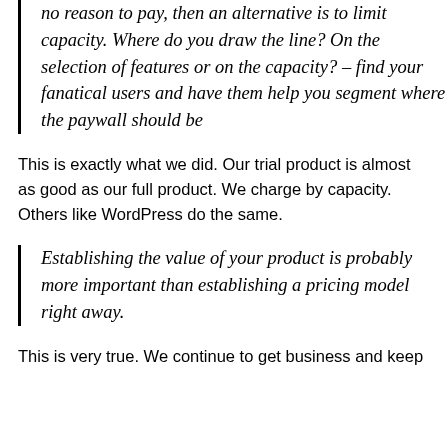no reason to pay, then an alternative is to limit capacity. Where do you draw the line? On the selection of features or on the capacity? – find your fanatical users and have them help you segment where the paywall should be
This is exactly what we did. Our trial product is almost as good as our full product. We charge by capacity. Others like WordPress do the same.
Establishing the value of your product is probably more important than establishing a pricing model right away.
This is very true. We continue to get business and keep